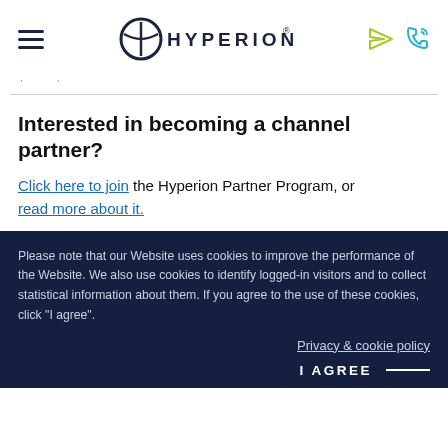HYPERION®
Interested in becoming a channel partner?
Click here to join the Hyperion Partner Program, or read more about it.
Please note that our Website uses cookies to improve the performance of the Website. We also use cookies to identify logged-in visitors and to collect statistical information about them. If you agree to the use of these cookies, click "I agree".
Privacy & cookie policy
I AGREE